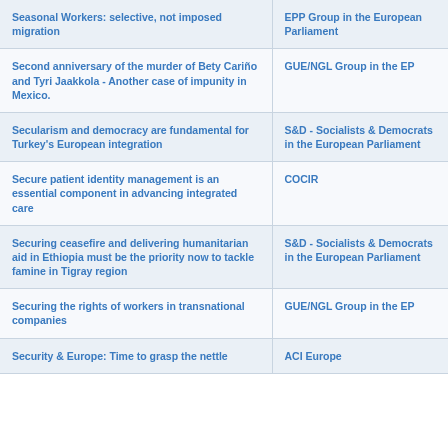| Title | Organization |
| --- | --- |
| Seasonal Workers: selective, not imposed migration | EPP Group in the European Parliament |
| Second anniversary of the murder of Bety Cariño and Tyri Jaakkola - Another case of impunity in Mexico. | GUE/NGL Group in the EP |
| Secularism and democracy are fundamental for Turkey's European integration | S&D - Socialists & Democrats in the European Parliament |
| Secure patient identity management is an essential component in advancing integrated care | COCIR |
| Securing ceasefire and delivering humanitarian aid in Ethiopia must be the priority now to tackle famine in Tigray region | S&D - Socialists & Democrats in the European Parliament |
| Securing the rights of workers in transnational companies | GUE/NGL Group in the EP |
| Security & Europe: Time to grasp the nettle | ACI Europe |